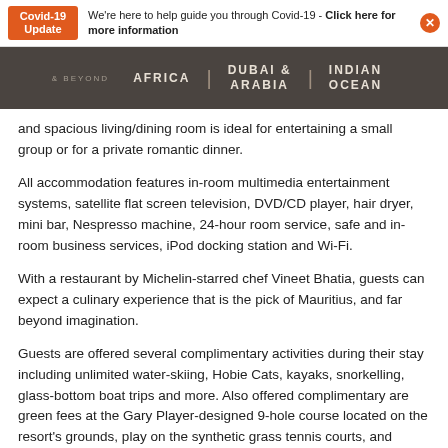Covid-19 Update | We're here to help guide you through Covid-19 - Click here for more information
[Figure (screenshot): Navigation bar with dark background showing: & BEYOND logo area, AFRICA | DUBAI & ARABIA | INDIAN OCEAN links]
and spacious living/dining room is ideal for entertaining a small group or for a private romantic dinner.
All accommodation features in-room multimedia entertainment systems, satellite flat screen television, DVD/CD player, hair dryer, mini bar, Nespresso machine, 24-hour room service, safe and in-room business services, iPod docking station and Wi-Fi.
With a restaurant by Michelin-starred chef Vineet Bhatia, guests can expect a culinary experience that is the pick of Mauritius, and far beyond imagination.
Guests are offered several complimentary activities during their stay including unlimited water-skiing, Hobie Cats, kayaks, snorkelling, glass-bottom boat trips and more. Also offered complimentary are green fees at the Gary Player-designed 9-hole course located on the resort's grounds, play on the synthetic grass tennis courts, and access to a dynamic Kids Club for all children aged 4 to 11 years.